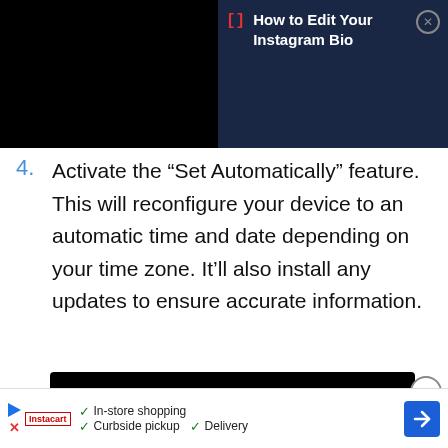[Figure (screenshot): Top section showing a black video area on the left and a dark navy overlay on the right with a red bracket icon and text 'How to Edit Your Instagram Bio' with a close button]
4. Activate the “Set Automatically” feature. This will reconfigure your device to an automatic time and date depending on your time zone. It’ll also install any updates to ensure accurate information.
[Figure (screenshot): iPhone screenshot showing the Date & Time settings screen with a back arrow labeled 'General' in blue and 'Date & Time' as the title in white on black background]
[Figure (screenshot): Advertisement banner at the bottom showing store icons, checkmarks for In-store shopping, Curbside pickup, Delivery, and a blue navigation arrow icon]